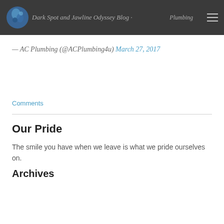Dark Spot and Jawline Odyssey Blog · Plumbing
— AC Plumbing (@ACPlumbing4u) March 27, 2017
Comments
Our Pride
The smile you have when we leave is what we pride ourselves on.
Archives